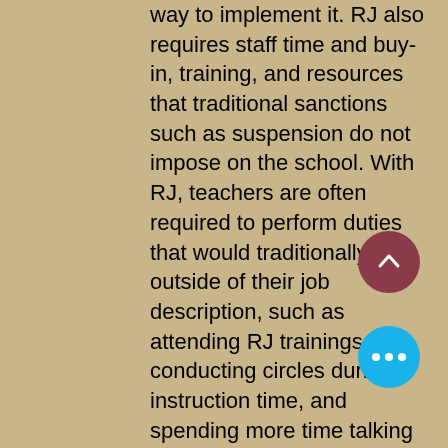way to implement it. RJ also requires staff time and buy-in, training, and resources that traditional sanctions such as suspension do not impose on the school. With RJ, teachers are often required to perform duties that would traditionally be outside of their job description, such as attending RJ trainings, conducting circles during instruction time, and spending more time talking one-on-one with students. Also, some educators and other stakeholders are resistant to RJ because it is sometimes perceived as being “too soft” on student offenses (Evans &